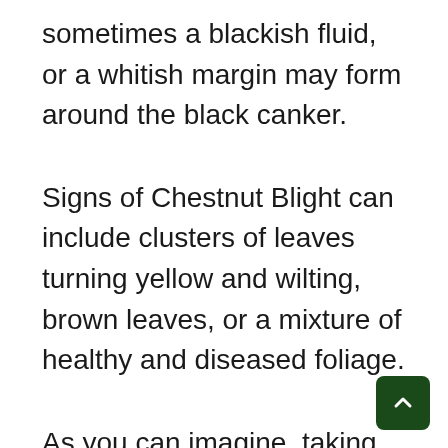sometimes a blackish fluid, or a whitish margin may form around the black canker.
Signs of Chestnut Blight can include clusters of leaves turning yellow and wilting, brown leaves, or a mixture of healthy and diseased foliage.
As you can imagine, taking down a tree that is weakened by these pests and tree diseases can be dangerous. We might need special equipment and more time to remove affected trees. If you notice symptoms of an infestation, a tree...